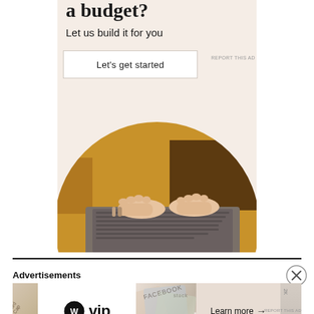[Figure (advertisement): Ad banner with beige background showing text 'a budget?' and 'Let us build it for you', a 'Let's get started' button, and a circular image of a person's hands typing on a laptop, wearing a mustard yellow sweater with bracelets]
REPORT THIS AD
Advertisements
[Figure (advertisement): Advertisements strip with WordPress VIP logo on white background, overlapping stock/Facebook card imagery in center, and 'Learn more →' button on right side]